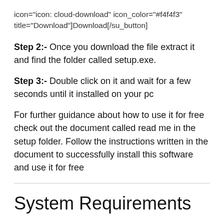icon="icon: cloud-download" icon_color="#f4f4f3" title="Download"]Download[/su_button]
Step 2:-  Once you download the file extract it and find the folder called setup.exe.
Step 3:-  Double click on it and wait for a few seconds until it installed on your pc
For further guidance about how to use it for free check out the document called read me in the setup folder. Follow the instructions written in the document to successfully install this software and use it for free
System Requirements